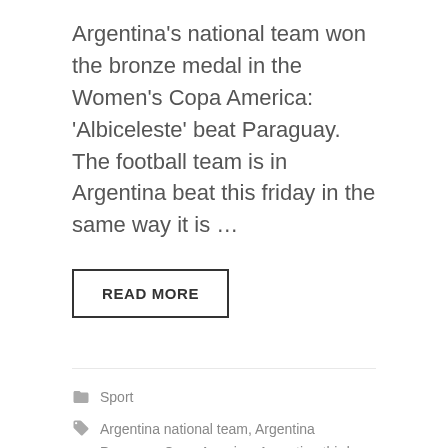Argentina's national team won the bronze medal in the Women's Copa America: 'Albiceleste' beat Paraguay. The football team is in Argentina beat this friday in the same way it is …
READ MORE
Sport
Argentina national team, Argentina Paraguay Copa America, Argentina third, The Red, Women's America's Cup
Leave a comment
Chile beats Argentina and is